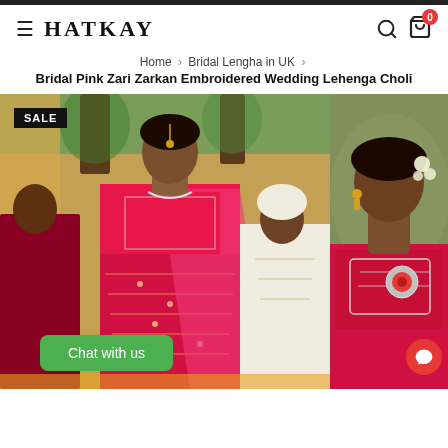HATKAY
Home › Bridal Lengha in UK › Bridal Pink Zari Zarkan Embroidered Wedding Lehenga Choli
[Figure (photo): Bridal Pink Zari Zarkan Embroidered Wedding Lehenga Choli - woman in pink embroidered lehenga with man in white sherwani outdoors, SALE badge in top left corner, Chat with us button at bottom left]
[Figure (photo): Close-up side image of woman wearing pink embroidered lehenga choli with jewellery detail]